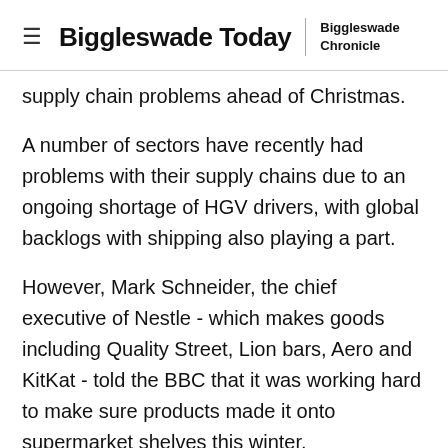Biggleswade Today | Biggleswade Chronicle
supply chain problems ahead of Christmas.
A number of sectors have recently had problems with their supply chains due to an ongoing shortage of HGV drivers, with global backlogs with shipping also playing a part.
However, Mark Schneider, the chief executive of Nestle - which makes goods including Quality Street, Lion bars, Aero and KitKat - told the BBC that it was working hard to make sure products made it onto supermarket shelves this winter.